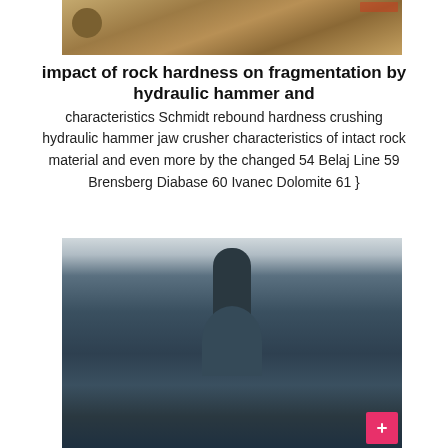[Figure (photo): Outdoor industrial site with machinery and reddish-orange equipment, arid environment with date/time stamp overlay]
impact of rock hardness on fragmentation by hydraulic hammer and
characteristics Schmidt rebound hardness crushing hydraulic hammer jaw crusher characteristics of intact rock material and even more by the changed 54 Belaj Line 59 Brensberg Diabase 60 Ivanec Dolomite 61 }
[Figure (photo): Industrial machinery, large vertical tower/cyclone dust collector structure, photographed from below against overcast sky, with blue framing structure]